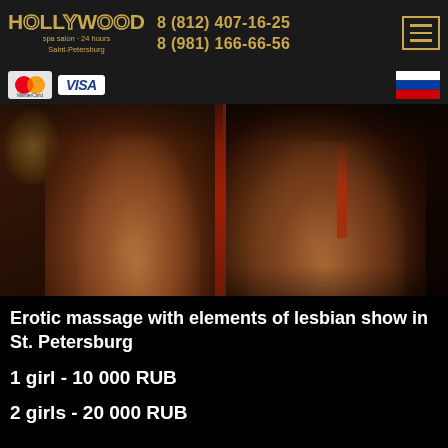HOLLYWOOD spa salon - 24 hours Saint-Petersburg | 8 (812) 407-16-25 | 8 (981) 166-66-56
[Figure (logo): MasterCard and VISA payment logos, Russian flag icon]
[Figure (photo): Artistic low-key photograph showing two figures, dimly lit with warm tones, split composition]
Erotic massage with elements of lesbian show in St. Petersburg
1 girl - 10 000 RUB
2 girls - 20 000 RUB